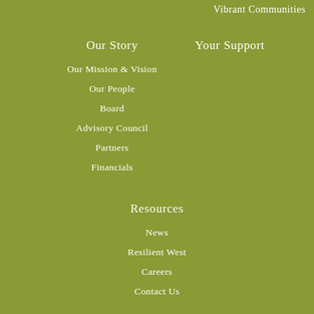Vibrant Communities
Our Story
Your Support
Our Mission & Vision
Our People
Board
Advisory Council
Partners
Financials
Resources
News
Resilient West
Careers
Contact Us